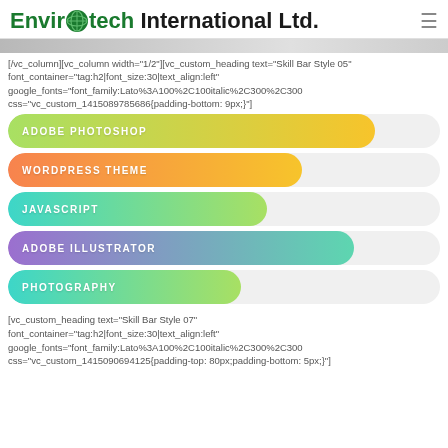Envirotech International Ltd.
[/vc_column][vc_column width="1/2"][vc_custom_heading text="Skill Bar Style 05" font_container="tag:h2|font_size:30|text_align:left" google_fonts="font_family:Lato%3A100%2C100italic%2C300%2C300 css="vc_custom_1415089785686{padding-bottom: 9px;}"]
[Figure (bar-chart): Skill Bars]
[vc_custom_heading text="Skill Bar Style 07" font_container="tag:h2|font_size:30|text_align:left" google_fonts="font_family:Lato%3A100%2C100italic%2C300%2C300 css="vc_custom_1415090694125{padding-top: 80px;padding-bottom: 5px;}"]